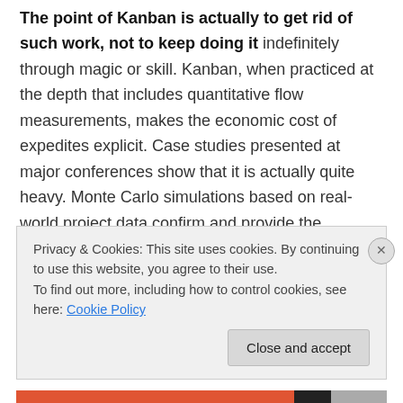The point of Kanban is actually to get rid of such work, not to keep doing it indefinitely through magic or skill. Kanban, when practiced at the depth that includes quantitative flow measurements, makes the economic cost of expedites explicit. Case studies presented at major conferences show that it is actually quite heavy. Monte Carlo simulations based on real-world project data confirm and provide the mathematical basis of this finding. For example, in his LSSC'12 talk, Dan Vacanti showed an example where a 10% capacity allocation to expedites roughly doubled lead times for the standard class of
Privacy & Cookies: This site uses cookies. By continuing to use this website, you agree to their use. To find out more, including how to control cookies, see here: Cookie Policy